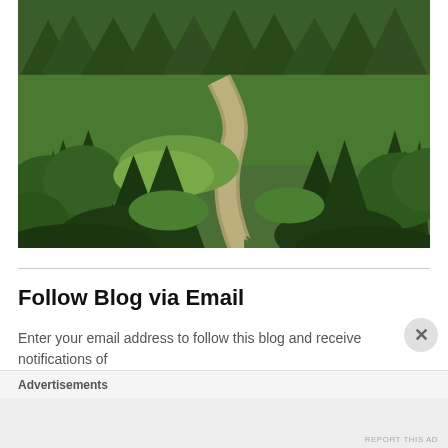[Figure (photo): Aerial or elevated view of a forested mountain valley with a winding dirt path or stream running through dense green conifer trees, lush meadow grasses, and evergreen forest covering the hillsides.]
Follow Blog via Email
Enter your email address to follow this blog and receive notifications of
Advertisements